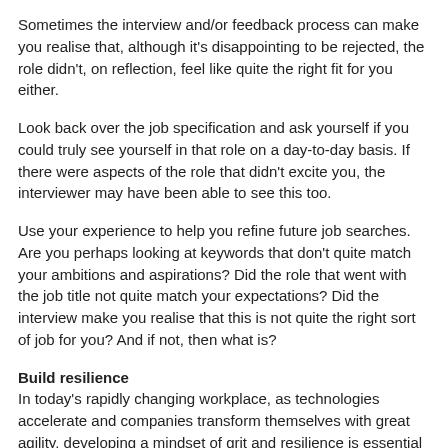Sometimes the interview and/or feedback process can make you realise that, although it's disappointing to be rejected, the role didn't, on reflection, feel like quite the right fit for you either.
Look back over the job specification and ask yourself if you could truly see yourself in that role on a day-to-day basis. If there were aspects of the role that didn't excite you, the interviewer may have been able to see this too.
Use your experience to help you refine future job searches. Are you perhaps looking at keywords that don't quite match your ambitions and aspirations? Did the role that went with the job title not quite match your expectations? Did the interview make you realise that this is not quite the right sort of job for you? And if not, then what is?
Build resilience
In today's rapidly changing workplace, as technologies accelerate and companies transform themselves with great agility, developing a mindset of grit and resilience is essential for long-term success.